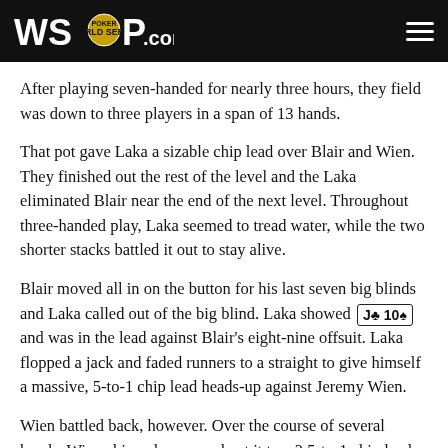WSOP.com
After playing seven-handed for nearly three hours, they field was down to three players in a span of 13 hands.
That pot gave Laka a sizable chip lead over Blair and Wien. They finished out the rest of the level and the Laka eliminated Blair near the end of the next level. Throughout three-handed play, Laka seemed to tread water, while the two shorter stacks battled it out to stay alive.
Blair moved all in on the button for his last seven big blinds and Laka called out of the big blind. Laka showed J♣ 10♠ and was in the lead against Blair's eight-nine offsuit. Laka flopped a jack and faded runners to a straight to give himself a massive, 5-to-1 chip lead heads-up against Jeremy Wien.
Wien battled back, however. Over the course of several hands, Wien chipped away and cut it to a 2.5-to-1 chip lead. Then, Wien doubled through...